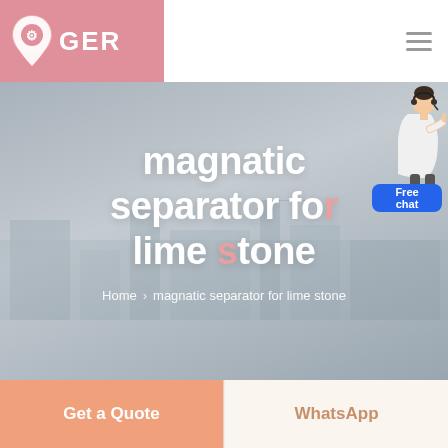[Figure (logo): GER brand logo with pink location pin icon and wrench symbol, white text on pink/salmon background]
magnatic separator for lime stone
Home > magnatic separator for lime stone
[Figure (illustration): Customer support person in white outfit with headset, pointing right, above a blue Free chat button]
Get a Quote
WhatsApp